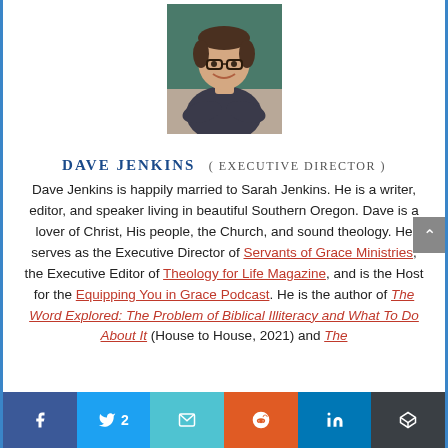[Figure (photo): Headshot photo of Dave Jenkins, a man smiling with arms crossed, wearing glasses and a dark polo shirt, seated at a table with a green background.]
Dave Jenkins  ( Executive Director )
Dave Jenkins is happily married to Sarah Jenkins. He is a writer, editor, and speaker living in beautiful Southern Oregon. Dave is a lover of Christ, His people, the Church, and sound theology. He serves as the Executive Director of Servants of Grace Ministries, the Executive Editor of Theology for Life Magazine, and is the Host for the Equipping You in Grace Podcast. He is the author of The Word Explored: The Problem of Biblical Illiteracy and What To Do About It (House to House, 2021) and The